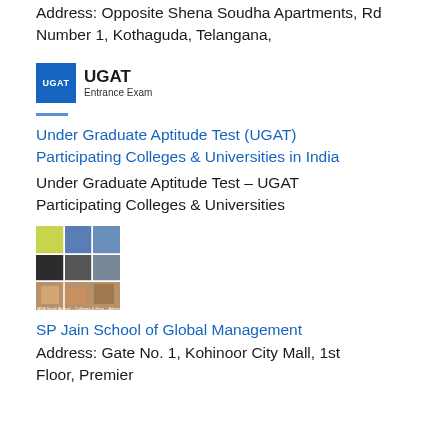Address: Opposite Shena Soudha Apartments, Rd Number 1, Kothaguda, Telangana,
[Figure (logo): UGAT Entrance Exam logo with blue square icon and text]
Under Graduate Aptitude Test (UGAT) Participating Colleges & Universities in India
Under Graduate Aptitude Test – UGAT Participating Colleges & Universities
[Figure (photo): Mosaic of college campus photos]
SP Jain School of Global Management
Address: Gate No. 1, Kohinoor City Mall, 1st Floor, Premier